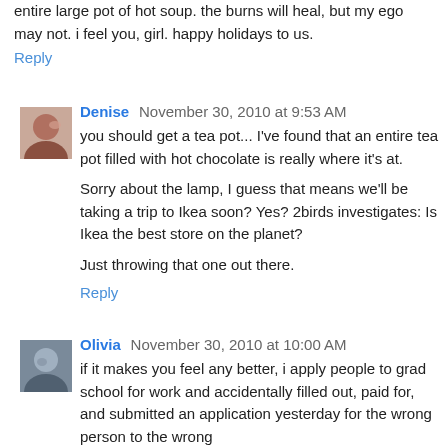entire large pot of hot soup. the burns will heal, but my ego may not. i feel you, girl. happy holidays to us.
Reply
Denise  November 30, 2010 at 9:53 AM
you should get a tea pot... I've found that an entire tea pot filled with hot chocolate is really where it's at.
Sorry about the lamp, I guess that means we'll be taking a trip to Ikea soon? Yes? 2birds investigates: Is Ikea the best store on the planet?
Just throwing that one out there.
Reply
Olivia  November 30, 2010 at 10:00 AM
if it makes you feel any better, i apply people to grad school for work and accidentally filled out, paid for, and submitted an application yesterday for the wrong person to the wrong...